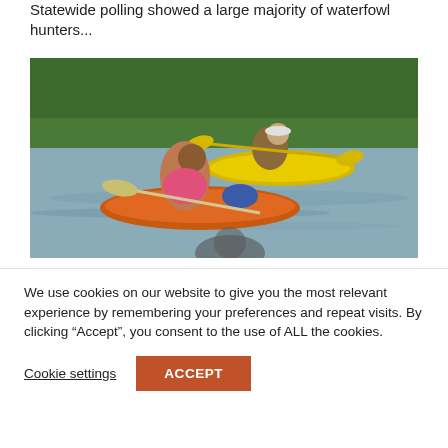Statewide polling showed a large majority of waterfowl hunters...
[Figure (photo): Two women kayaking on a river; one in an orange kayak in the foreground wearing a pink top, and another in a yellow kayak wearing a white cap and green top. Green trees visible in the background.]
We use cookies on our website to give you the most relevant experience by remembering your preferences and repeat visits. By clicking “Accept”, you consent to the use of ALL the cookies.
Cookie settings
ACCEPT